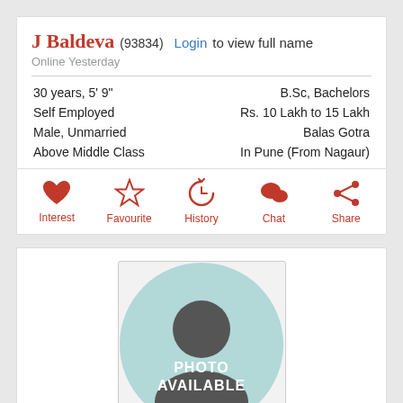J Baldeva (93834) Login to view full name
Online Yesterday
30 years, 5' 9"
Self Employed
Male, Unmarried
Above Middle Class
B.Sc, Bachelors
Rs. 10 Lakh to 15 Lakh
Balas Gotra
In Pune (From Nagaur)
Interest
Favourite
History
Chat
Share
[Figure (photo): Default avatar silhouette placeholder with text PHOTO AVAILABLE on teal circle background]